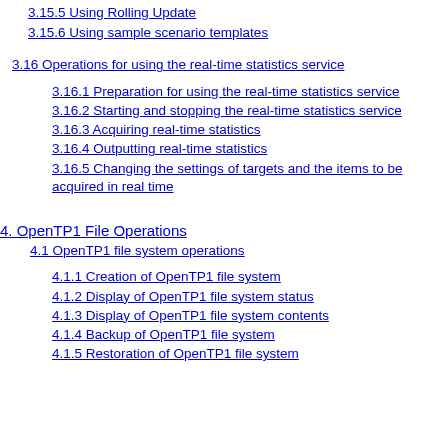3.15.5 Using Rolling Update
3.15.6 Using sample scenario templates
3.16 Operations for using the real-time statistics service
3.16.1 Preparation for using the real-time statistics service
3.16.2 Starting and stopping the real-time statistics service
3.16.3 Acquiring real-time statistics
3.16.4 Outputting real-time statistics
3.16.5 Changing the settings of targets and the items to be acquired in real time
4. OpenTP1 File Operations
4.1 OpenTP1 file system operations
4.1.1 Creation of OpenTP1 file system
4.1.2 Display of OpenTP1 file system status
4.1.3 Display of OpenTP1 file system contents
4.1.4 Backup of OpenTP1 file system
4.1.5 Restoration of OpenTP1 file system